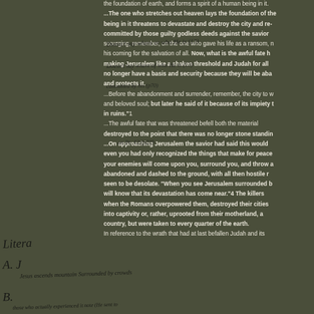the foundation of earth, and forms a spirit of a human being in it. ...The one who stretches out heaven lays the foundation of the being in it threatens to devastate and destroy the city and re- committed by those guilty godless deeds against the savior scourging, remember, on the one who gave his life as a ransom, his coming for the salvation of all. Now, what is the awful fate h making Jerusalem like a shaken threshold and Judah for all no longer have a basis and security because they will be aba and protects it. ...Before the abandonment and surrender, remember, the city to w and beloved soul; but later he said of it because of its impiety t in ruins."1 ...The awful fate that was threatened befell both the material destroyed to the point that there was no longer stone standin ...On approaching Jerusalem the savior had said this would even you had only recognized the things that make for peace your enemies will come upon you, surround you, and throw a abandoned and dashed to the ground, with all then hostile r seen to be desolate. "When you see Jerusalem surrounded b will know that its devastation has come near."4 The killers when the Romans overpowered them, destroyed their cities into captivity or, rather, uprooted from their motherland, a country, but were taken to every quarter of the earth. In reference to the wrath that had at last befallen Judah and its
[Figure (illustration): Handwritten annotations overlaying the printed text, including cursive script identifying labels and notes such as 'Doesn't say where or who He is (13)' and 'Liter', 'A. Jesus ascends mountain Surrounded by crowds', 'B.' and other marginal notes.]